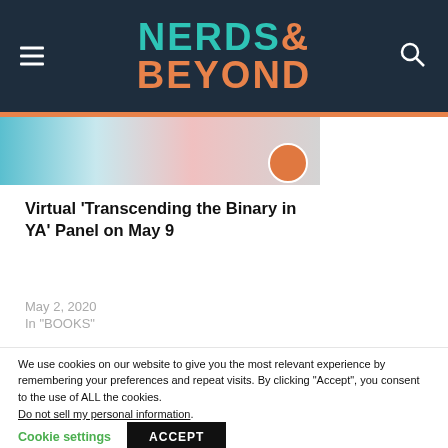NERDS& BEYOND
[Figure (photo): Partial thumbnail image for the article about 'Transcending the Binary in YA' panel]
Virtual ‘Transcending the Binary in YA’ Panel on May 9
May 2, 2020
In "BOOKS"
We use cookies on our website to give you the most relevant experience by remembering your preferences and repeat visits. By clicking “Accept”, you consent to the use of ALL the cookies.
Do not sell my personal information.
Cookie settings  ACCEPT